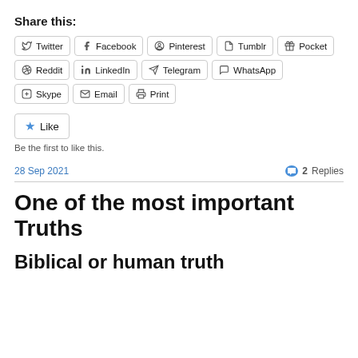Share this:
Twitter Facebook Pinterest Tumblr Pocket
Reddit LinkedIn Telegram WhatsApp
Skype Email Print
Like
Be the first to like this.
28 Sep 2021   2 Replies
One of the most important Truths
Biblical or human truth